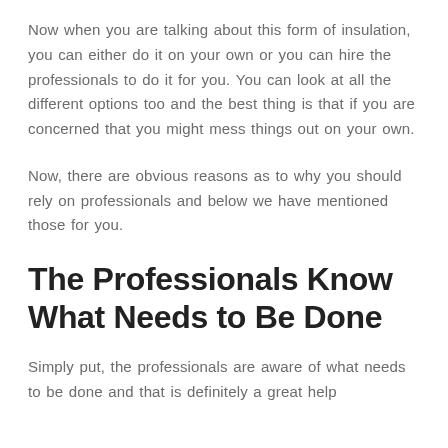Now when you are talking about this form of insulation, you can either do it on your own or you can hire the professionals to do it for you. You can look at all the different options too and the best thing is that if you are concerned that you might mess things out on your own.
Now, there are obvious reasons as to why you should rely on professionals and below we have mentioned those for you.
The Professionals Know What Needs to Be Done
Simply put, the professionals are aware of what needs to be done and that is definitely a great help